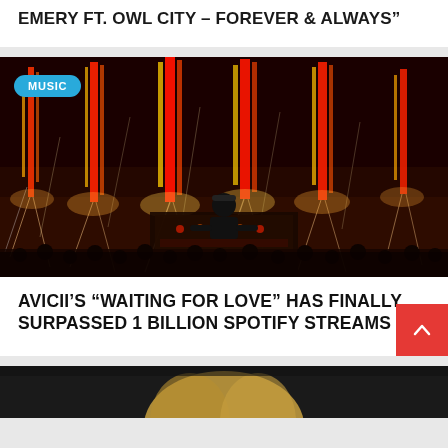EMERY FT. OWL CITY – FOREVER & ALWAYS"
[Figure (photo): DJ performing on stage with large pyrotechnic firework fountains shooting up behind, crowd visible in foreground. MUSIC badge overlay in top-left.]
AVICII'S “WAITING FOR LOVE” HAS FINALLY SURPASSED 1 BILLION SPOTIFY STREAMS
[Figure (photo): Partial view of a person with blonde hair at the bottom of the page, cropped.]